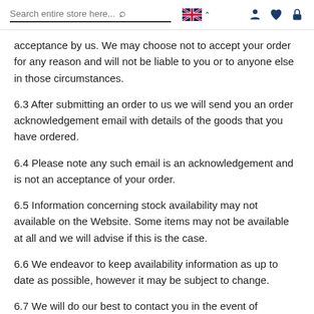Search entire store here...
acceptance by us. We may choose not to accept your order for any reason and will not be liable to you or to anyone else in those circumstances.
6.3 After submitting an order to us we will send you an order acknowledgement email with details of the goods that you have ordered.
6.4 Please note any such email is an acknowledgement and is not an acceptance of your order.
6.5 Information concerning stock availability may not available on the Website. Some items may not be available at all and we will advise if this is the case.
6.6 We endeavor to keep availability information as up to date as possible, however it may be subject to change.
6.7 We will do our best to contact you in the event of changes